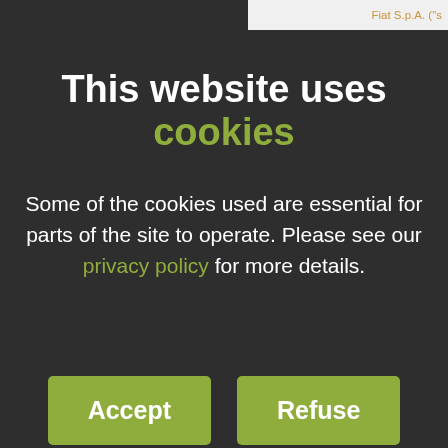Fiat S.p.A. ("s
This website uses cookies
Some of the cookies used are essential for parts of the site to operate. Please see our privacy policy for more details.
Accept  Refuse